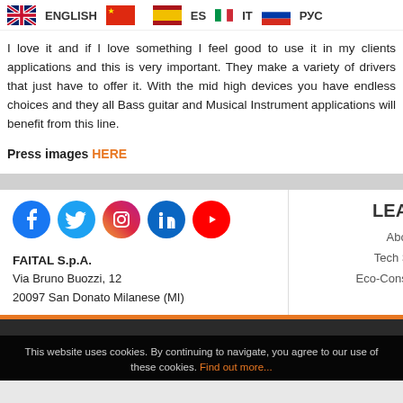ENGLISH | [中文] | ES | IT | РУС
I love it and if I love something I feel good to use it in my clients applications and this is very important. They make a variety of drivers that just have to offer it. With the mid high devices you have endless choices and they all Bass guitar and Musical Instrument applications will benefit from this line.
Press images HERE
[Figure (logo): Social media icons: Facebook, Twitter, Instagram, LinkedIn, YouTube]
FAITAL S.p.A.
Via Bruno Buozzi, 12
20097 San Donato Milanese (MI)
LEARN
About Us
Tech Specs
Eco-Conscious
This website uses cookies. By continuing to navigate, you agree to our use of these cookies. Find out more...